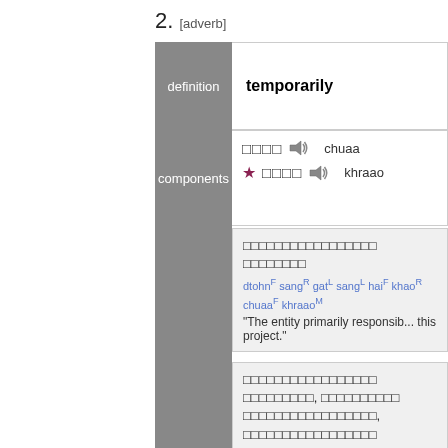2. [adverb]
| label | content |
| --- | --- |
| definition | temporarily |
| components | □□□□ 🔊 chuaa
★□□□□ 🔊 khraao |
□□□□□□□□□□□□□□□□□□□□□□□□□□□□□□
dtohnF sangR gatL sangL haiF khaoR chuaaF khraaoM
"The entity primarily responsible this project."
□□□□□□□□□□□□□□□□□□□□□□□□□□□□□, □□□□□□□□□□□□□□□□□□□□□□□□□□□□□□□, □□□□□□□□□□□□□□□□□□□□□□□□□□□□□□□□□□□□□□□□□□□□□□□□□□□□□□□□□□□□□□□□